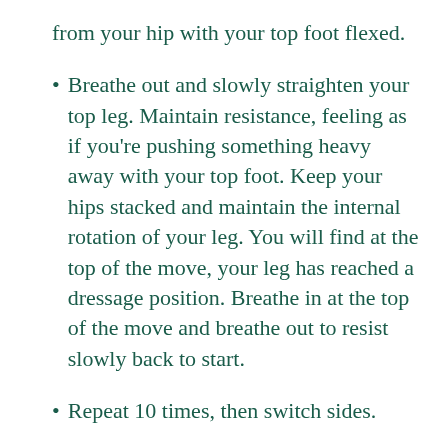from your hip with your top foot flexed.
Breathe out and slowly straighten your top leg. Maintain resistance, feeling as if you’re pushing something heavy away with your top foot. Keep your hips stacked and maintain the internal rotation of your leg. You will find at the top of the move, your leg has reached a dressage position. Breathe in at the top of the move and breathe out to resist slowly back to start.
Repeat 10 times, then switch sides.